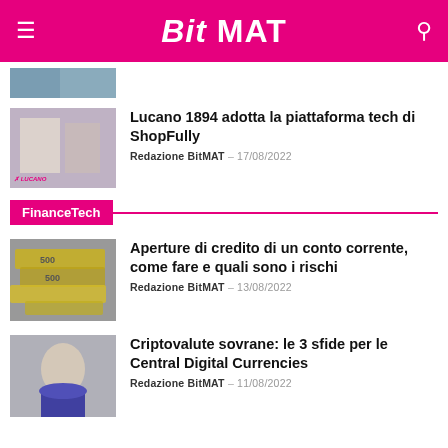BitMAT
[Figure (photo): Partial thumbnail image at top of page, cropped]
[Figure (photo): Woman in store using smartphone, Lucano branding]
Lucano 1894 adotta la piattaforma tech di ShopFully
Redazione BitMAT – 17/08/2022
FinanceTech
[Figure (photo): Euro banknotes spread out on surface]
Aperture di credito di un conto corrente, come fare e quali sono i rischi
Redazione BitMAT – 13/08/2022
[Figure (photo): Man in purple suit with arms crossed, professional headshot]
Criptovalute sovrane: le 3 sfide per le Central Digital Currencies
Redazione BitMAT – 11/08/2022